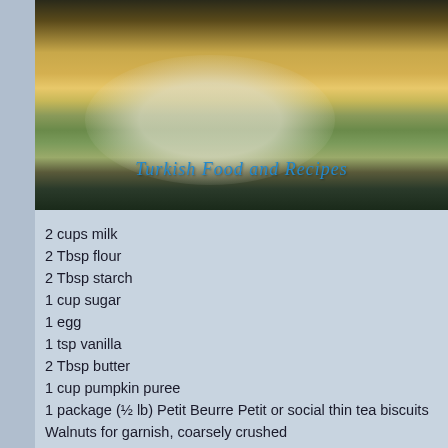[Figure (photo): Photo of Turkish pumpkin dessert slices on a plate with walnuts and fruit decorations, watermark reading 'Turkish Food and Recipes']
2 cups milk
2 Tbsp flour
2 Tbsp starch
1 cup sugar
1 egg
1 tsp vanilla
2 Tbsp butter
1 cup pumpkin puree
1 package (½ lb) Petit Beurre Petit or social thin tea biscuits
Walnuts for garnish, coarsely crushed
For the pumpkin puree, chop some pumpkin and take it into a sn covered. Add 1 Tbsp sugar and cook until they are soft. Drain and b Mix milk, flour, starch, egg and sugar in a pot. Take it over med...